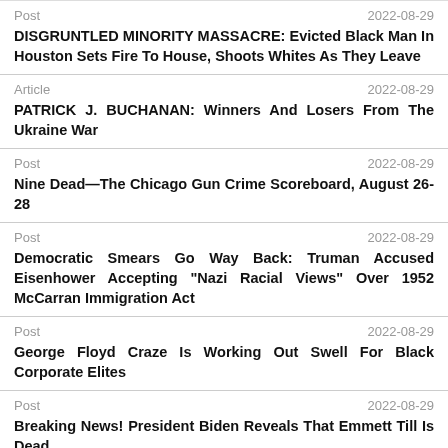Post | 2022-08-29 | DISGRUNTLED MINORITY MASSACRE: Evicted Black Man In Houston Sets Fire To House, Shoots Whites As They Leave
Article | 2022-08-29 | PATRICK J. BUCHANAN: Winners And Losers From The Ukraine War
Post | 2022-08-29 | Nine Dead—The Chicago Gun Crime Scoreboard, August 26-28
Post | 2022-08-29 | Democratic Smears Go Way Back: Truman Accused Eisenhower Accepting "Nazi Racial Views" Over 1952 McCarran Immigration Act
Post | 2022-08-29 | George Floyd Craze Is Working Out Swell For Black Corporate Elites
Post | 2022-08-29 | Breaking News! President Biden Reveals That Emmett Till Is Dead